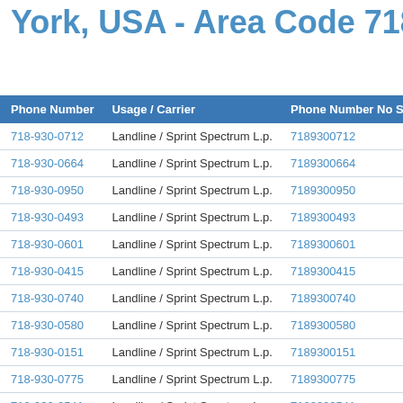York, USA - Area Code 718-930
| Phone Number | Usage / Carrier | Phone Number No Space |  |
| --- | --- | --- | --- |
| 718-930-0712 | Landline / Sprint Spectrum L.p. | 7189300712 | View |
| 718-930-0664 | Landline / Sprint Spectrum L.p. | 7189300664 | View |
| 718-930-0950 | Landline / Sprint Spectrum L.p. | 7189300950 | View |
| 718-930-0493 | Landline / Sprint Spectrum L.p. | 7189300493 | View |
| 718-930-0601 | Landline / Sprint Spectrum L.p. | 7189300601 | View |
| 718-930-0415 | Landline / Sprint Spectrum L.p. | 7189300415 | View |
| 718-930-0740 | Landline / Sprint Spectrum L.p. | 7189300740 | View |
| 718-930-0580 | Landline / Sprint Spectrum L.p. | 7189300580 | View |
| 718-930-0151 | Landline / Sprint Spectrum L.p. | 7189300151 | View |
| 718-930-0775 | Landline / Sprint Spectrum L.p. | 7189300775 | View |
| 718-930-0541 | Landline / Sprint Spectrum L.p. | 7189300541 | View |
| 718-930-0470 | Landline / Sprint Spectrum L.p. | 7189300470 | View |
| 718-930-0940 | Landline / Sprint Spectrum L.p. | 7189300940 | View |
| 718-930-0240 | Landline / Sprint Spectrum L.p. | 7189300240 | View |